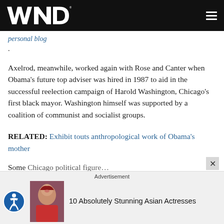WND
personal blog.
Axelrod, meanwhile, worked again with Rose and Canter when Obama's future top adviser was hired in 1987 to aid in the successful reelection campaign of Harold Washington, Chicago's first black mayor. Washington himself was supported by a coalition of communist and socialist groups.
RELATED: Exhibit touts anthropological work of Obama's mother
Some other Chicago political figure appearing partially
Advertisement
10 Absolutely Stunning Asian Actresses